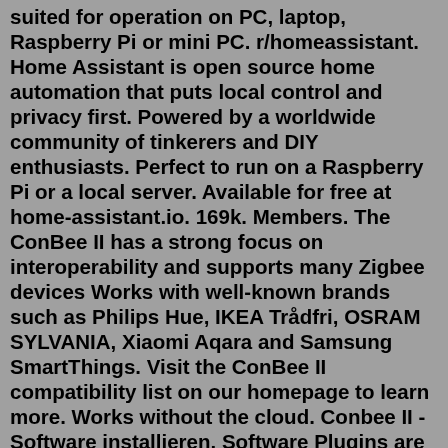suited for operation on PC, laptop, Raspberry Pi or mini PC. r/homeassistant. Home Assistant is open source home automation that puts local control and privacy first. Powered by a worldwide community of tinkerers and DIY enthusiasts. Perfect to run on a Raspberry Pi or a local server. Available for free at home-assistant.io. 169k. Members. The ConBee II has a strong focus on interoperability and supports many Zigbee devices Works with well-known brands such as Philips Hue, IKEA Trådfri, OSRAM SYLVANIA, Xiaomi Aqara and Samsung SmartThings. Visit the ConBee II compatibility list on our homepage to learn more. Works without the cloud. Conbee II - Software installieren. Software Plugins are drivers or apps that link HomeSeer smart home software and hubs with hundreds of smart home products &amp; technologies. ⚠ Important: All plugins may be trialed freely for 30 days before purchase! Install your trial from the HS3 or HS4 software updater. Compatibility Most HS3 plugins will work... The universal Zigbee USB gateway. The ConBee II replaces several